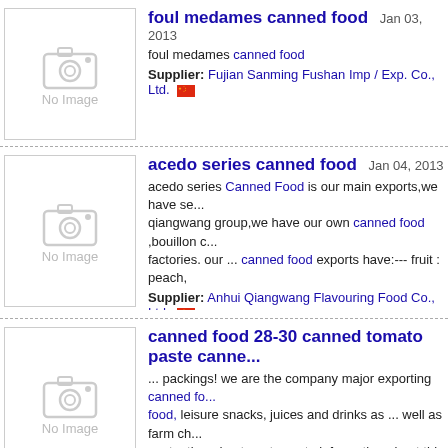foul medames canned food  Jan 03, 2013
foul medames canned food
Supplier: Fujian Sanming Fushan Imp / Exp. Co., Ltd.
acedo series canned food  Jan 04, 2013
acedo series Canned Food is our main exports,we have se... qiangwang group,we have our own canned food ,bouillon c... factories. our ... canned food exports have:--- fruit : peach,
Supplier: Anhui Qiangwang Flavouring Food Co., Ltd.
canned food 28-30 canned tomato paste canne...
... packings! we are the company major exporting canned fo... food, leisure snacks, juices and drinks as ... well as farm ch... paste, tinned ... tomato paste information about this serial c... both their packings ...
Supplier: Xiamen Xuanlong Import And Export Trade Co., ...
Tomato Paste/ Ketchup canned food  Jan 04, 201...